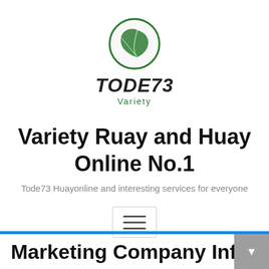[Figure (logo): TODE73 Variety logo — green circle with a leaf inside, brand name TODE73 in bold italic dark text, subtitle 'Variety' in green below]
Variety Ruay and Huay Online No.1
Tode73 Huayonline and interesting services for everyone
[Figure (other): Hamburger menu button — rectangle with border containing three horizontal lines]
Marketing Company Info